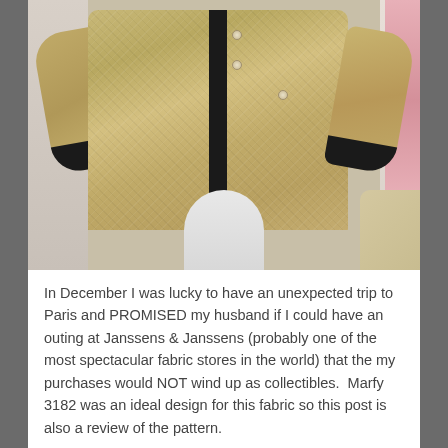[Figure (photo): A gold/tan tweed jacket with black center front band, black cuffs, and pearl/gold button details, displayed on a white dress form mannequin. Background shows a room with a white paneled wall on the left and pink fabric hanging on the right.]
In December I was lucky to have an unexpected trip to Paris and PROMISED my husband if I could have an outing at Janssens & Janssens (probably one of the most spectacular fabric stores in the world) that the my purchases would NOT wind up as collectibles.  Marfy 3182 was an ideal design for this fabric so this post is also a review of the pattern.
Additional views: